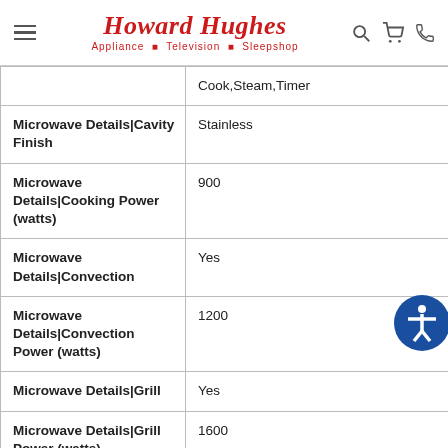Howard Hughes Appliance · Television · Sleepshop
| Property | Value |
| --- | --- |
| (previous row continued) | Cook,Steam,Timer |
| Microwave Details|Cavity Finish | Stainless |
| Microwave Details|Cooking Power (watts) | 900 |
| Microwave Details|Convection | Yes |
| Microwave Details|Convection Power (watts) | 1200 |
| Microwave Details|Grill | Yes |
| Microwave Details|Grill Power (watts) | 1600 |